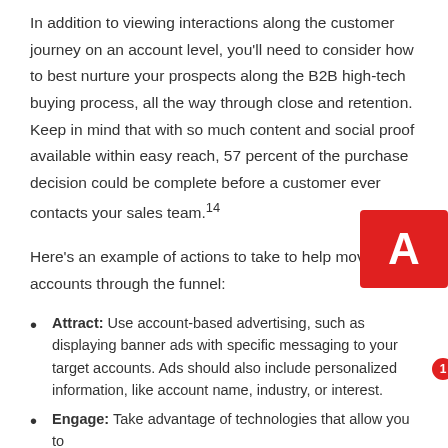In addition to viewing interactions along the customer journey on an account level, you'll need to consider how to best nurture your prospects along the B2B high-tech buying process, all the way through close and retention. Keep in mind that with so much content and social proof available within easy reach, 57 percent of the purchase decision could be complete before a customer ever contacts your sales team.14
Here's an example of actions to take to help move your accounts through the funnel:
Attract: Use account-based advertising, such as displaying banner ads with specific messaging to your target accounts. Ads should also include personalized information, like account name, industry, or interest.
Engage: Take advantage of technologies that allow you to
[Figure (logo): Adobe logo - red square with white stylized A letter and notification badge showing 1]